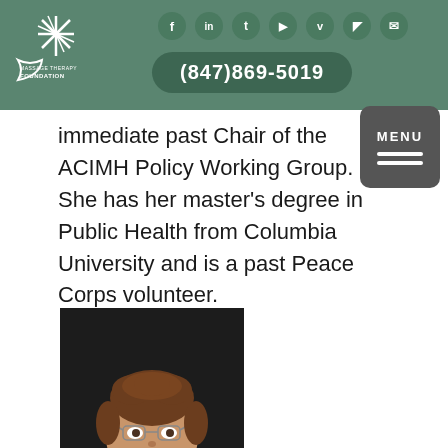Massage Therapy Foundation — (847)869-5019
immediate past Chair of the ACIMH Policy Working Group. She has her master's degree in Public Health from Columbia University and is a past Peace Corps volunteer.
[Figure (photo): Headshot of a smiling woman with glasses, brown hair pulled up, wearing a blue top and black cardigan with a beaded necklace, against a dark background.]